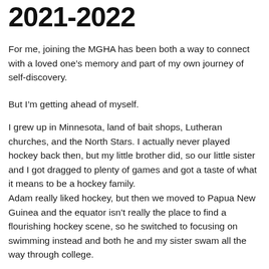2021-2022
For me, joining the MGHA has been both a way to connect with a loved one’s memory and part of my own journey of self-discovery.
But I’m getting ahead of myself.
I grew up in Minnesota, land of bait shops, Lutheran churches, and the North Stars. I actually never played hockey back then, but my little brother did, so our little sister and I got dragged to plenty of games and got a taste of what it means to be a hockey family.
Adam really liked hockey, but then we moved to Papua New Guinea and the equator isn’t really the place to find a flourishing hockey scene, so he switched to focusing on swimming instead and both he and my sister swam all the way through college.